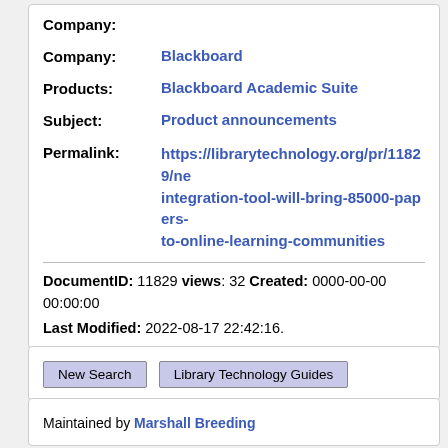Company:
Company: Blackboard
Products: Blackboard Academic Suite
Subject: Product announcements
Permalink: https://librarytechnology.org/pr/11829/new-integration-tool-will-bring-85000-papers-to-online-learning-communities
DocumentID: 11829 views: 32 Created: 0000-00-00 00:00:00 Last Modified: 2022-08-17 22:42:16.
New Search
Library Technology Guides
Maintained by Marshall Breeding